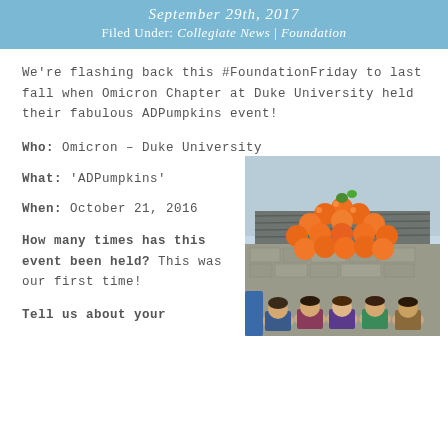September 29th, 2017
Filed Under: Collegiate News | Foundation
We're flashing back this #FoundationFriday to last fall when Omicron Chapter at Duke University held their fabulous ADPumpkins event!
Who: Omicron – Duke University
What: 'ADPumpkins'
When: October 21, 2016
How many times has this event been held? This was our first time!
Tell us about your
[Figure (photo): Group of young women standing in front of a stone building, posing with orange balloons arranged in the shape of a pumpkin arch above them.]